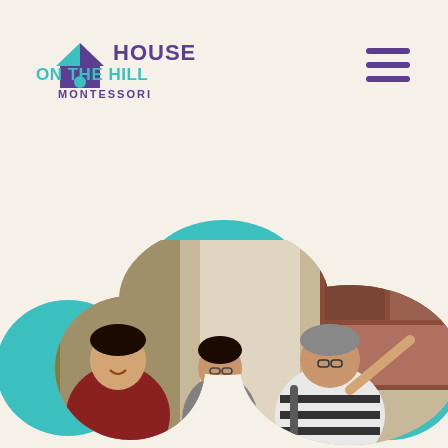[Figure (logo): House on the Hill Montessori logo with purple house/roof icon and teal accent, purple bold text HOUSE ON THE HILL and teal text MONTESSORI below]
[Figure (other): Hamburger menu icon with three horizontal purple lines]
[Figure (photo): Three Asian adults smiling and looking at photos/artwork displayed on a wall in a corridor. Two women on the left (one in red floral top, one in grey with lanyard) and an older man on the right in striped shirt pointing at the wall display. Decorative teal and olive blob shapes frame the photo.]